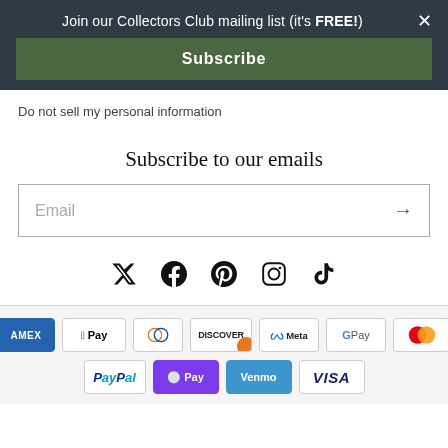Join our Collectors Club mailing list (it's FREE!) ×
Subscribe
Do not sell my personal information
Subscribe to our emails
Email →
[Figure (infographic): Social media icons: Twitter, Facebook, Pinterest, Instagram, TikTok]
[Figure (infographic): Payment method icons: American Express, Apple Pay, Diners Club, Discover, Meta Pay, Google Pay, Mastercard, PayPal, OPay, Venmo, Visa]